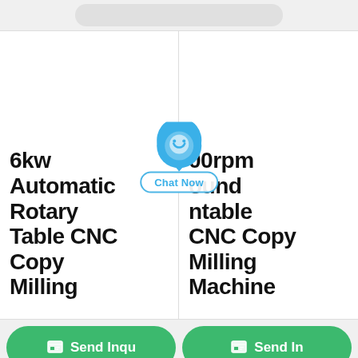[Figure (screenshot): Top gray bar with rounded pill/search bar element]
6kw Automatic Rotary Table CNC Copy Milling
00rpm ound ntable CNC Copy Milling Machine
[Figure (logo): Blue chat/location pin icon with smiley face and Chat Now button overlay]
Send Inqu
Send In